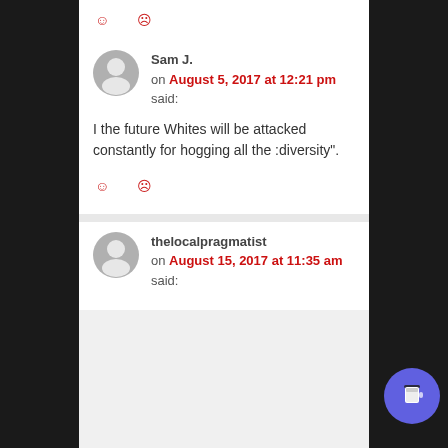[Figure (other): Reaction emoji icons (smiley and frowny face) in red outline style at top of comment]
Sam J. on August 5, 2017 at 12:21 pm said:
I the future Whites will be attacked constantly for hogging all the :diversity".
[Figure (other): Reaction emoji icons (smiley and frowny face) in red outline style below comment]
thelocalpragmatist on August 15, 2017 at 11:35 am said: